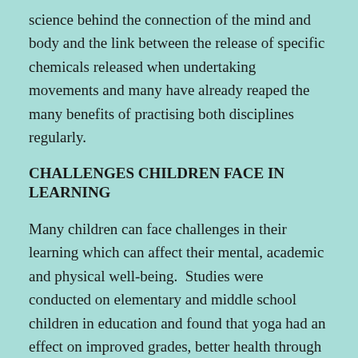science behind the connection of the mind and body and the link between the release of specific chemicals released when undertaking movements and many have already reaped the many benefits of practising both disciplines regularly.
CHALLENGES CHILDREN FACE IN LEARNING
Many children can face challenges in their learning which can affect their mental, academic and physical well-being.  Studies were conducted on elementary and middle school children in education and found that yoga had an effect on improved grades, better health through a reduction in obesity and health problems, the research suggests that mindfulness activities such as Pilates and yoga can also assist children in class lessons because they are calmer, find it easier to complete tasks improved concentration as well as having a healthy body image which leads to more